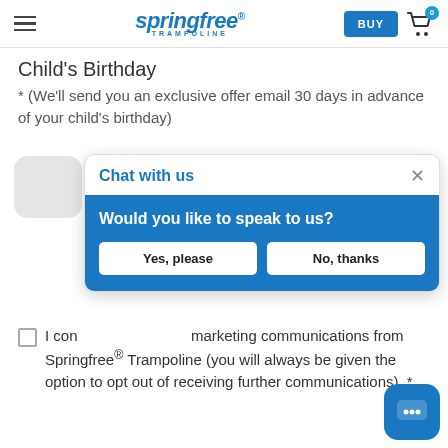springfree TRAMPOLINE | BUY | Cart (0)
Child's Birthday
* (We'll send you an exclusive offer email 30 days in advance of your child's birthday)
[Figure (screenshot): Chat with us popup widget with header 'Chat with us' and close X button, blue box asking 'Would you like to speak to us?' with two buttons: 'Yes, please' and 'No, thanks']
I consent to receiving marketing communications from Springfree® Trampoline (you will always be given the option to opt out of receiving further communications). *